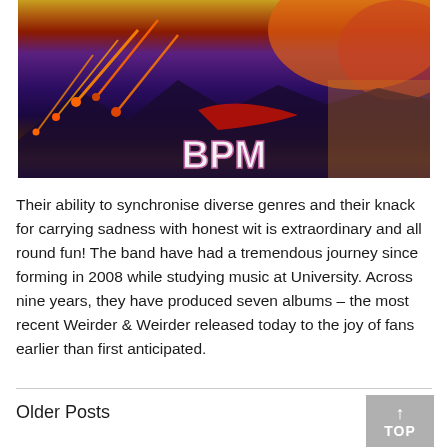[Figure (illustration): Album artwork showing dramatic sky with meteors/fireballs falling, red and purple tones, mountains in background, with 'BPM' text in white/pink letters at the bottom center of the image.]
Their ability to synchronise diverse genres and their knack for carrying sadness with honest wit is extraordinary and all round fun! The band have had a tremendous journey since forming in 2008 while studying music at University. Across nine years, they have produced seven albums – the most recent Weirder & Weirder released today to the joy of fans earlier than first anticipated.
Older Posts